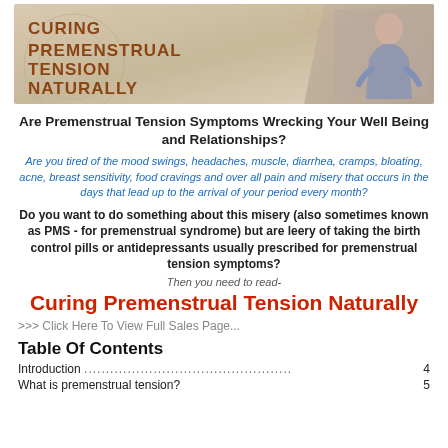[Figure (illustration): Banner image for 'Curing Premenstrual Tension Naturally' with decorative background, text on left, star graphic, and image of a woman on the right]
Are Premenstrual Tension Symptoms Wrecking Your Well Being and Relationships?
Are you tired of the mood swings, headaches, muscle, diarrhea, cramps, bloating, acne, breast sensitivity, food cravings and over all pain and misery that occurs in the days that lead up to the arrival of your period every month?
Do you want to do something about this misery (also sometimes known as PMS - for premenstrual syndrome) but are leery of taking the birth control pills or antidepressants usually prescribed for premenstrual tension symptoms?
Then you need to read-
Curing Premenstrual Tension Naturally
>>> Click Here To View Full Sales Page...
Table Of Contents
Introduction ................................................ 4
What is premenstrual tension? 5